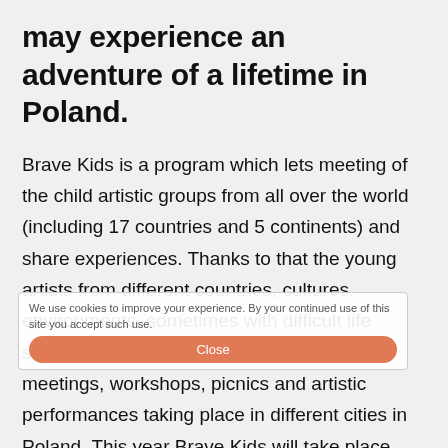may experience an adventure of a lifetime in Poland.
Brave Kids is a program which lets meeting of the child artistic groups from all over the world (including 17 countries and 5 continents) and share experiences. Thanks to that the young artists from different countries, cultures, environments, sometimes with difficult life stories – can confront their worlds during meetings, workshops, picnics and artistic performances taking place in different cities in Poland. This year Brave Kids will take place also in Slovakia and Georgia. The children will learn, gain new skills and make friends together. However in order to make it happen, it is necessary to be engaged and passionate while being a person organizing this event.
We use cookies to improve your experience. By your continued use of this site you accept such use.
Close